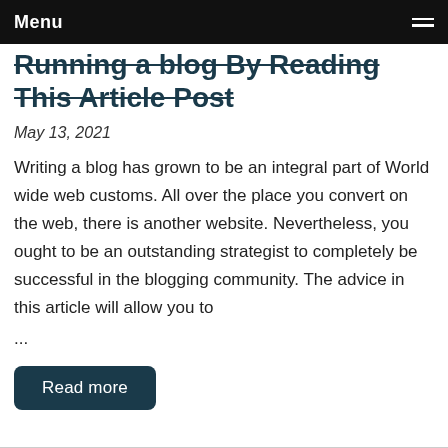Menu
Running a blog By Reading This Article Post
May 13, 2021
Writing a blog has grown to be an integral part of World wide web customs. All over the place you convert on the web, there is another website. Nevertheless, you ought to be an outstanding strategist to completely be successful in the blogging community. The advice in this article will allow you to
...
Read more